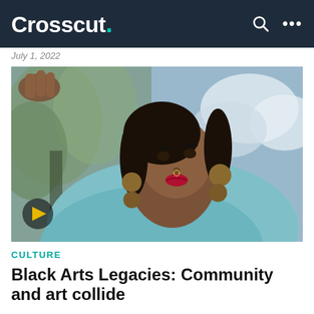Crosscut.
July 1, 2022
[Figure (photo): A Black woman with locs adorned with decorative accessories, wearing large ornate earrings and a light blue top, looking upward with red lipstick. A hand is visible in the upper left. Background shows trees and sky. A video play button is overlaid in the lower left corner.]
CULTURE
Black Arts Legacies: Community and art collide